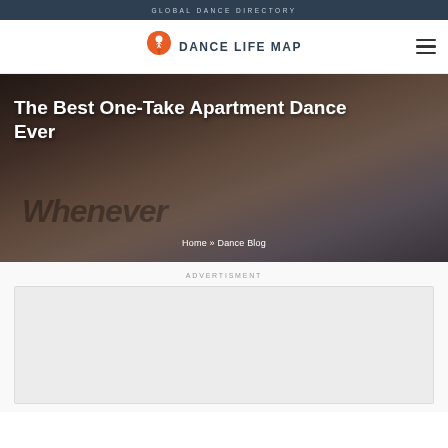GLOBAL DANCE DIRECTORY
[Figure (logo): Dance Life Map logo: orange map pin icon with dancer silhouette, beside bold text 'DANCE LIFE MAP']
[Figure (photo): Hero background photo of a couple lying together, overlaid with large italic watermark text 'Whenever']
The Best One-Take Apartment Dance Ever
Home » Dance Blog
ADVERTISMENT
[Figure (other): Empty advertisement placeholder box]